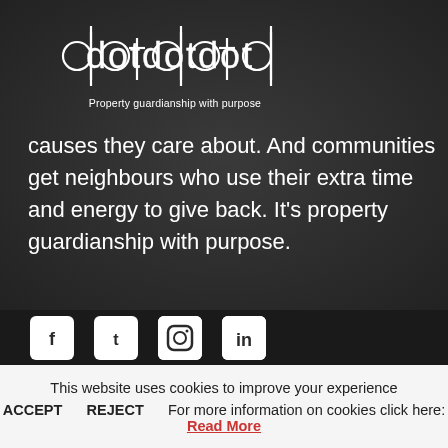[Figure (logo): dotdotdot logo with text 'Property guardianship with purpose' underneath]
causes they care about. And communities get neighbours who use their extra time and energy to give back. It's property guardianship with purpose.
[Figure (infographic): Social media icons: Facebook, Twitter, Instagram, and another social platform, white icons on dark background]
This website uses cookies to improve your experience
ACCEPT   REJECT   For more information on cookies click here: Read More